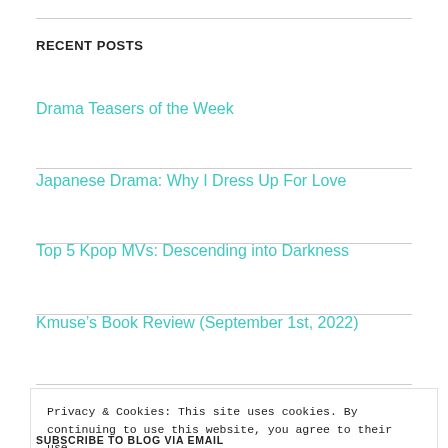RECENT POSTS
Drama Teasers of the Week
Japanese Drama: Why I Dress Up For Love
Top 5 Kpop MVs: Descending into Darkness
Kmuse’s Book Review (September 1st, 2022)
Privacy & Cookies: This site uses cookies. By continuing to use this website, you agree to their use.
To find out more, including how to control cookies, see here: Cookie Policy
Close and accept
SUBSCRIBE TO BLOG VIA EMAIL